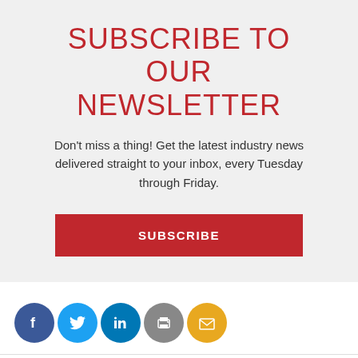SUBSCRIBE TO OUR NEWSLETTER
Don't miss a thing! Get the latest industry news delivered straight to your inbox, every Tuesday through Friday.
SUBSCRIBE
[Figure (infographic): Row of five social media icon circles: Facebook (blue), Twitter (light blue), LinkedIn (blue), Print (gray), Email (gold/yellow)]
EXCLUSIVE FEATURES    LATEST NEWS    PRODUCTS